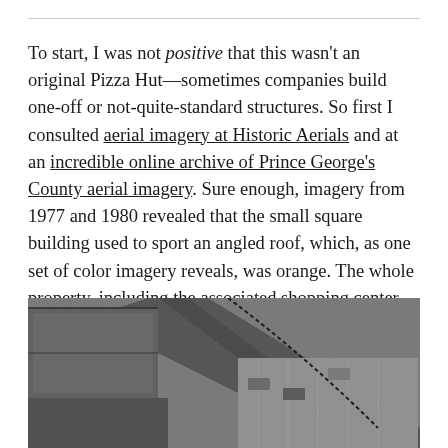To start, I was not positive that this wasn't an original Pizza Hut—sometimes companies build one-off or not-quite-standard structures. So first I consulted aerial imagery at Historic Aerials and at an incredible online archive of Prince George's County aerial imagery. Sure enough, imagery from 1977 and 1980 revealed that the small square building used to sport an angled roof, which, as one set of color imagery reveals, was orange. The whole property, including the associated shopping center, dates to 1971.
[Figure (photo): Black and white aerial photograph showing a building with an angled roof and surrounding parking lot/shopping center area, taken from above at an angle.]